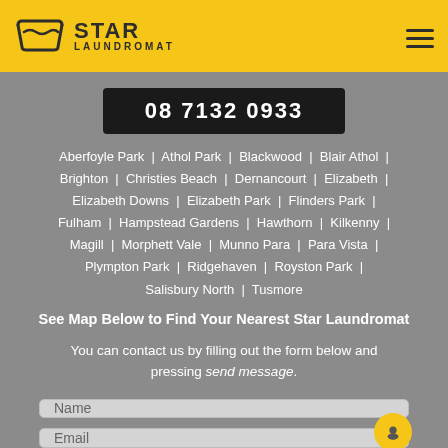[Figure (logo): Star Laundromat logo with washing basin icon and text 'STAR LAUNDROMAT' on yellow header bar]
08 7132 0933
Aberfoyle Park | Athol Park | Blackwood | Blair Athol | Brighton | Christies Beach | Dernancourt | Elizabeth | Elizabeth Downs | Elizabeth Park | Flinders Park | Fulham | Hampstead Gardens | Hawthorn | Kilkenny | Magill | Morphett Vale | Munno Para | Para Vista | Plympton Park | Ridgehaven | Royston Park | Salisbury North | Tusmore
See Map Below to Find Your Nearest Star Laundromat
You can contact us by filling out the form below and pressing send message.
Name
Email